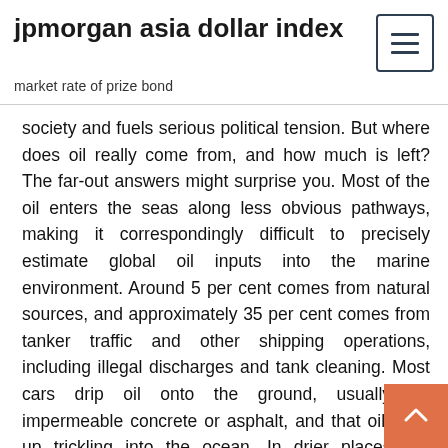jpmorgan asia dollar index
market rate of prize bond
society and fuels serious political tension. But where does oil really come from, and how much is left? The far-out answers might surprise you. Most of the oil enters the seas along less obvious pathways, making it correspondingly difficult to precisely estimate global oil inputs into the marine environment. Around 5 per cent comes from natural sources, and approximately 35 per cent comes from tanker traffic and other shipping operations, including illegal discharges and tank cleaning. Most cars drip oil onto the ground, usually on impermeable concrete or asphalt, and that oil ends up trickling into the ocean. In drier places like California, the oil builds up on the asphalt and Where does oil come from? Follow Us Instead, most scientists think oil started out as plankton and other tiny ocean critters, specifically their lipids—tough, stringy molecules that bacteria Together, these four types of areas hold most of the oil and gas in the world today. an ocean basin